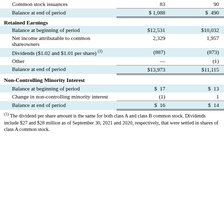|  | Col1 | Col2 |
| --- | --- | --- |
| Common stock issuances | 83 | 90 |
| Balance at end of period | $ 1,088 | $ 490 |
| Retained Earnings |  |  |
| Balance at beginning of period | $12,531 | $10,032 |
| Net income attributable to common shareowners | 2,329 | 1,957 |
| Dividends ($1.02 and $1.01 per share) (1) | (887) | (873) |
| Other | — | (1) |
| Balance at end of period | $13,973 | $11,115 |
| Non-Controlling Minority Interest |  |  |
| Balance at beginning of period | $ 17 | $ 13 |
| Change in non-controlling minority interest | (1) | 1 |
| Balance at end of period | $ 16 | $ 14 |
(1) The dividend per share amount is the same for both class A and class B common stock. Dividends include $27 and $28 million as of September 30, 2021 and 2020, respectively, that were settled in shares of class A common stock.